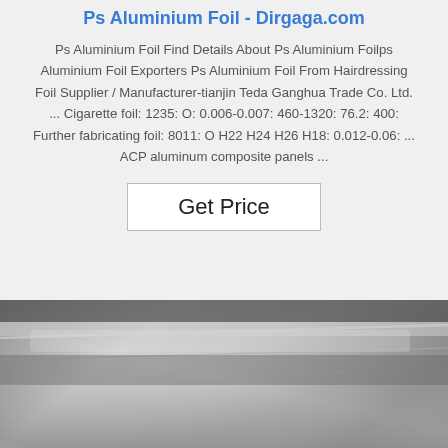Ps Aluminium Foil - Dirgaga.com
Ps Aluminium Foil Find Details About Ps Aluminium Foilps Aluminium Foil Exporters Ps Aluminium Foil From Hairdressing Foil Supplier / Manufacturer-tianjin Teda Ganghua Trade Co. Ltd. ... Cigarette foil: 1235: O: 0.006-0.007: 460-1320: 76.2: 400: Further fabricating foil: 8011: O H22 H24 H26 H18: 0.012-0.06: ... ACP aluminum composite panels ...
Get Price
[Figure (photo): Close-up photo of aluminum foil sheets with a metallic silver sheen, with a TOP logo watermark in the lower right corner.]